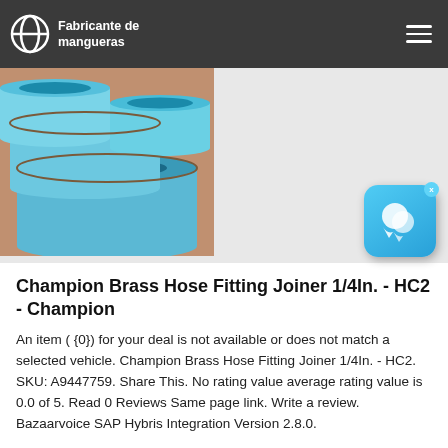Fabricante de mangueras
[Figure (photo): Blue industrial hoses/pipes stacked on a surface, viewed from one end showing circular openings]
Champion Brass Hose Fitting Joiner 1/4In. - HC2 - Champion
An item ( {0}) for your deal is not available or does not match a selected vehicle. Champion Brass Hose Fitting Joiner 1/4In. - HC2. SKU: A9447759. Share This. No rating value average rating value is 0.0 of 5. Read 0 Reviews Same page link. Write a review. Bazaarvoice SAP Hybris Integration Version 2.8.0.